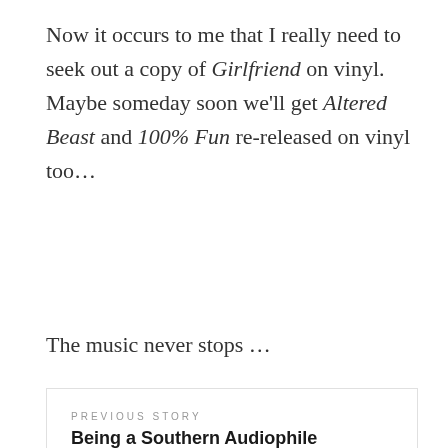Now it occurs to me that I really need to seek out a copy of Girlfriend on vinyl.  Maybe someday soon we'll get Altered Beast and 100% Fun re-released on vinyl too…
The music never stops …
PREVIOUS STORY
Being a Southern Audiophile
NEXT STORY
Good and Bad Tweaks Part 2